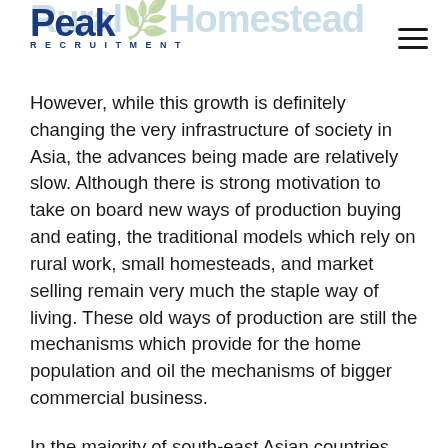Rural Homestead Peak Recruitment
However, while this growth is definitely changing the very infrastructure of society in Asia, the advances being made are relatively slow. Although there is strong motivation to take on board new ways of production buying and eating, the traditional models which rely on rural work, small homesteads, and market selling remain very much the staple way of living. These old ways of production are still the mechanisms which provide for the home population and oil the mechanisms of bigger commercial business.
In the majority of south-east Asian countries, especially Cambodia and Vietnam, the land is rural, so old traditional farming methods and markets (such as wet markets) continue, but that is not to say modern retail methods and production are not